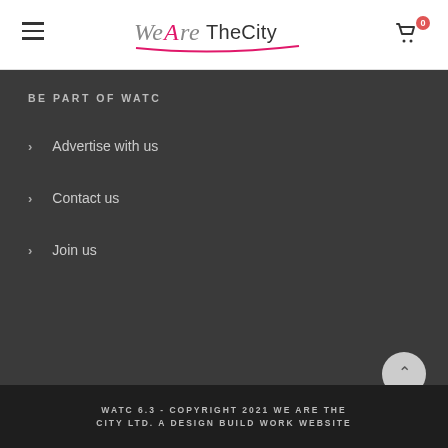WeAreTheCity — navigation header with hamburger menu and cart (0 items)
BE PART OF WATC
Advertise with us
Contact us
Join us
WATC 6.3 - COPYRIGHT 2021 WE ARE THE CITY LTD. A DESIGN BUILD WORK WEBSITE